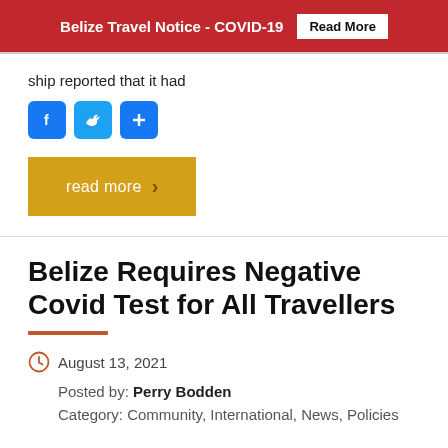Belize Travel Notice - COVID-19  Read More
ship reported that it had
[Figure (other): Social share buttons: Facebook, Twitter, Share]
[Figure (other): Read more button with arrow]
Belize Requires Negative Covid Test for All Travellers
August 13, 2021
Posted by: Perry Bodden
Category: Community, International, News, Policies